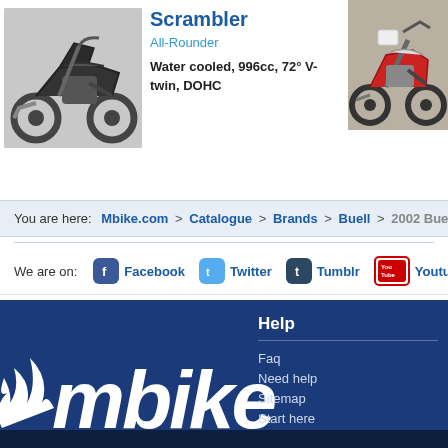[Figure (photo): Motorcycle photo on left side - dark cruiser/scrambler bike]
Scrambler
All-Rounder
Water cooled, 996cc, 72° V-twin, DOHC
[Figure (photo): Motorcycle photo on right side - red dirt/off-road bike]
You are here: Mbike.com > Catalogue > Brands > Buell > 2002 Buell X
We are on: Facebook Twitter Tumblr Youtube
Help
Faq
Need help
Sitemap
Start here
[Figure (logo): mbike logo in white italic text with flame on dark blue background]